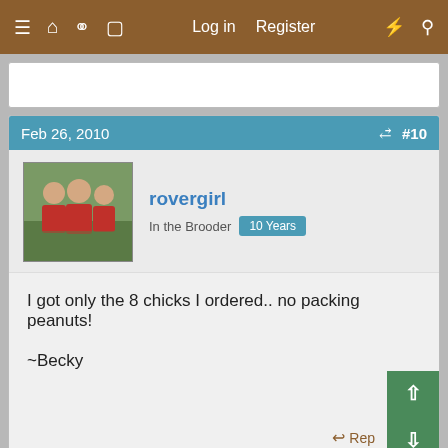≡ 🏠 💬 📄   Log in   Register   ⚡   🔍
Feb 26, 2010   #10
rovergirl
In the Brooder   10 Years
I got only the 8 chicks I ordered.. no packing peanuts!

~Becky